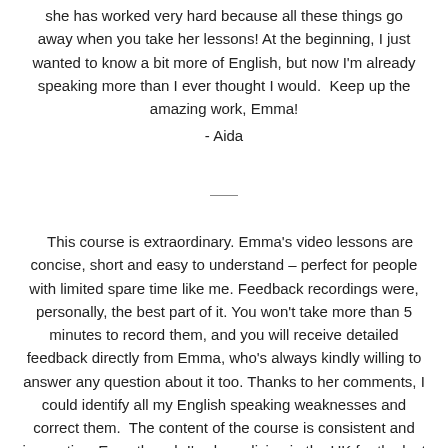she has worked very hard because all these things go away when you take her lessons! At the beginning, I just wanted to know a bit more of English, but now I'm already speaking more than I ever thought I would.  Keep up the amazing work, Emma!
- Aida
This course is extraordinary. Emma's video lessons are concise, short and easy to understand – perfect for people with limited spare time like me. Feedback recordings were, personally, the best part of it. You won't take more than 5 minutes to record them, and you will receive detailed feedback directly from Emma, who's always kindly willing to answer any question about it too. Thanks to her comments, I could identify all my English speaking weaknesses and correct them.  The content of the course is consistent and innovative. Even though I've been living in the UK for the last two and a half years, there was an